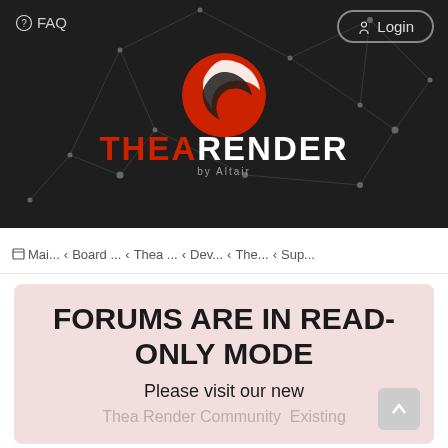[Figure (logo): Thea Render by Altair logo on dark background with constellation network graphic. Red circular swoosh icon above the text THEARENDER in bold, with 'by Altair' subtitle.]
? FAQ    Login
Mai... < Board ... < Thea ... < Dev... < The... < Sup...
FORUMS ARE IN READ-ONLY MODE
Please visit our new
Thea Render Community  Existing